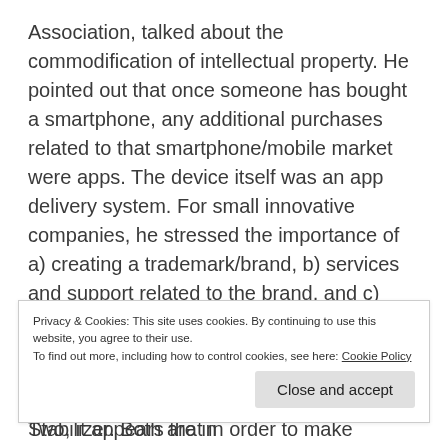Association, talked about the commodification of intellectual property. He pointed out that once someone has bought a smartphone, any additional purchases related to that smartphone/mobile market were apps. The device itself was an app delivery system. For small innovative companies, he stressed the importance of a) creating a trademark/brand, b) services and support related to the brand, and c) employment agreements. These practical business development pillars had not been articulated so clearly in other presentations.

Two, it appears that in order to make significant returns on any investment into IP or an IP driven company, a
Privacy & Cookies: This site uses cookies. By continuing to use this website, you agree to their use.
To find out more, including how to control cookies, see here: Cookie Policy
Inventor of the Steadicam® Camera Stabilizer. Both are in